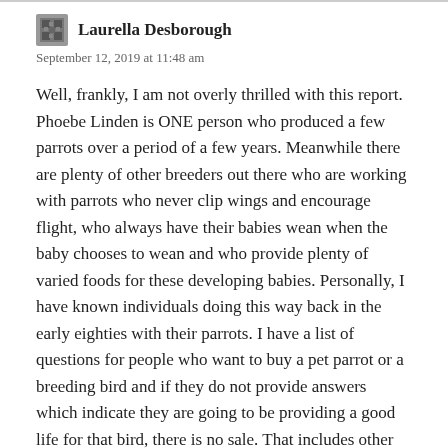Laurella Desborough
September 12, 2019 at 11:48 am
Well, frankly, I am not overly thrilled with this report. Phoebe Linden is ONE person who produced a few parrots over a period of a few years. Meanwhile there are plenty of other breeders out there who are working with parrots who never clip wings and encourage flight, who always have their babies wean when the baby chooses to wean and who provide plenty of varied foods for these developing babies. Personally, I have known individuals doing this way back in the early eighties with their parrots. I have a list of questions for people who want to buy a pet parrot or a breeding bird and if they do not provide answers which indicate they are going to be providing a good life for that bird, there is no sale. That includes other